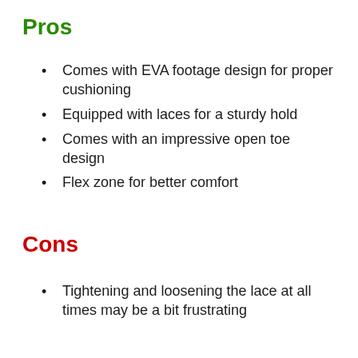Pros
Comes with EVA footage design for proper cushioning
Equipped with laces for a sturdy hold
Comes with an impressive open toe design
Flex zone for better comfort
Cons
Tightening and loosening the lace at all times may be a bit frustrating
Final Verdict: It's well made and come with